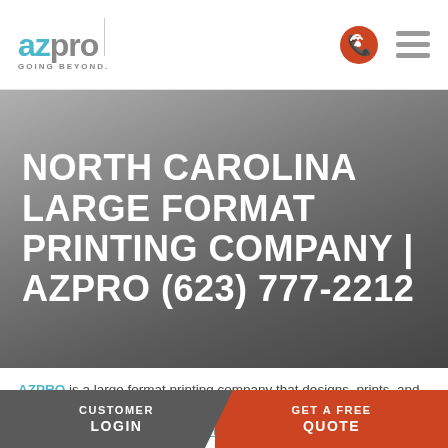[Figure (logo): AZPRO logo with teal 'az' and grey 'pro' text, 'GOING BEYOND.' tagline, and vertical divider line]
NORTH CAROLINA LARGE FORMAT PRINTING COMPANY | AZPRO (623) 777-2212
AZPRO is a large format printing company that designs, prints, and installs graphics nationwide for vehicle fleet graphics, corporate environments, retail pop/pos signage,
CUSTOMER LOGIN | GET A FREE QUOTE